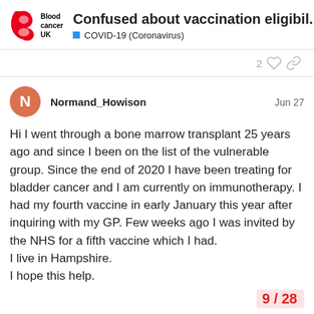Confused about vaccination eligibil... | COVID-19 (Coronavirus)
2
Normand_Howison   Jun 27
Hi I went through a bone marrow transplant 25 years ago and since I been on the list of the vulnerable group. Since the end of 2020 I have been treating for bladder cancer and I am currently on immunotherapy. I had my fourth vaccine in early January this year after inquiring with my GP. Few weeks ago I was invited by the NHS for a fifth vaccine which I had.
I live in Hampshire.
I hope this help.
9 / 28